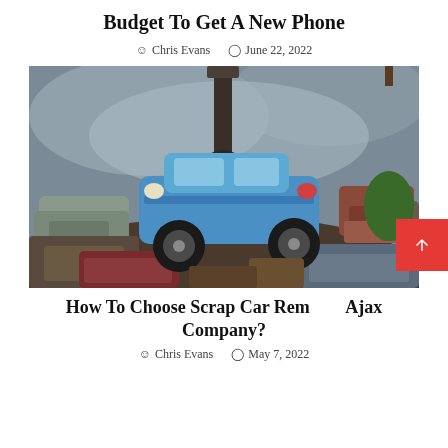Budget To Get A New Phone
Chris Evans   June 22, 2022
[Figure (photo): A blue car being lifted by a large crane claw over a junkyard filled with scrapped and crushed vehicles under a cloudy grey sky.]
How To Choose Scrap Car Removal Ajax Company?
Chris Evans   May 7, 2022